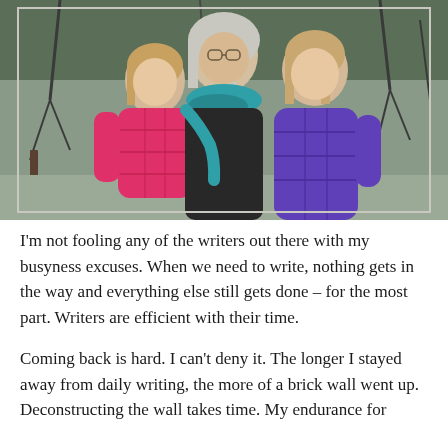[Figure (photo): Three people outdoors in winter jackets: a younger girl in a pink puffer jacket on the left, an older woman with white hair in the middle wearing a teal scarf, and an older girl in a purple puffer jacket on the right. Bare trees and a fence are visible in the background.]
I'm not fooling any of the writers out there with my busyness excuses. When we need to write, nothing gets in the way and everything else still gets done – for the most part. Writers are efficient with their time.
Coming back is hard. I can't deny it. The longer I stayed away from daily writing, the more of a brick wall went up. Deconstructing the wall takes time. My endurance for